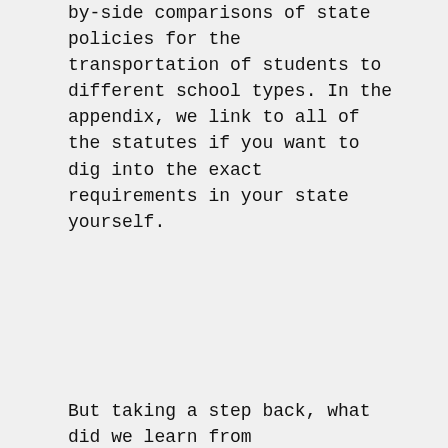by-side comparisons of state policies for the transportation of students to different school types. In the appendix, we link to all of the statutes if you want to dig into the exact requirements in your state yourself.
But taking a step back, what did we learn from